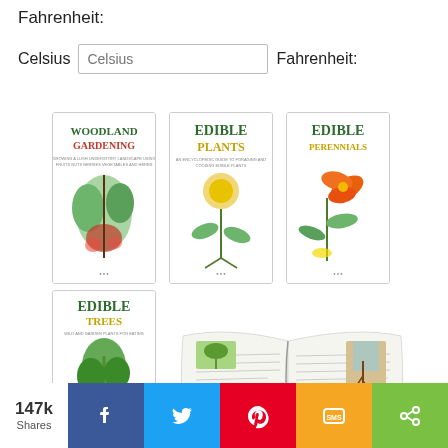Fahrenheit:
Celsius    Celsius    Fahrenheit:
[Figure (illustration): Book cover: WOODLAND GARDENING with botanical plant illustration]
[Figure (illustration): Book cover: EDIBLE PLANTS with dandelion botanical illustration]
[Figure (illustration): Book cover: EDIBLE PERENNIALS with orange flower botanical illustration]
[Figure (illustration): Book cover: EDIBLE TREES with botanical plant illustration]
[Figure (illustration): Open book/magazine spread with plant/gardening content]
147k Shares